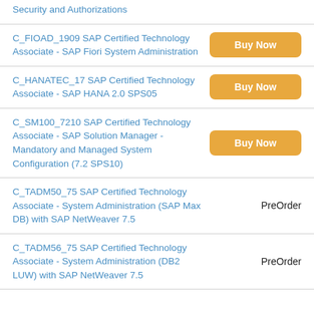Security and Authorizations
C_FIOAD_1909 SAP Certified Technology Associate - SAP Fiori System Administration
C_HANATEC_17 SAP Certified Technology Associate - SAP HANA 2.0 SPS05
C_SM100_7210 SAP Certified Technology Associate - SAP Solution Manager - Mandatory and Managed System Configuration (7.2 SPS10)
C_TADM50_75 SAP Certified Technology Associate - System Administration (SAP Max DB) with SAP NetWeaver 7.5
C_TADM56_75 SAP Certified Technology Associate - System Administration (DB2 LUW) with SAP NetWeaver 7.5